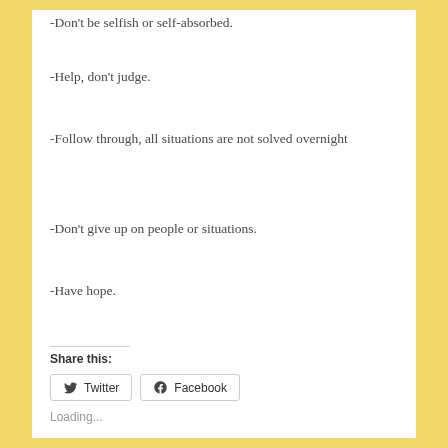-Don't be selfish or self-absorbed.
-Help, don't judge.
-Follow through, all situations are not solved overnight
-Don't give up on people or situations.
-Have hope.
Share this:
Twitter  Facebook
Loading...